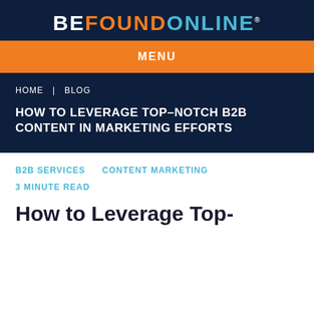BEFOUNDONLINE®
MENU
HOME / BLOG
HOW TO LEVERAGE TOP-NOTCH B2B CONTENT IN MARKETING EFFORTS
B2B SERVICES   CONTENT MARKETING
3 MINUTE READ
How to Leverage Top-